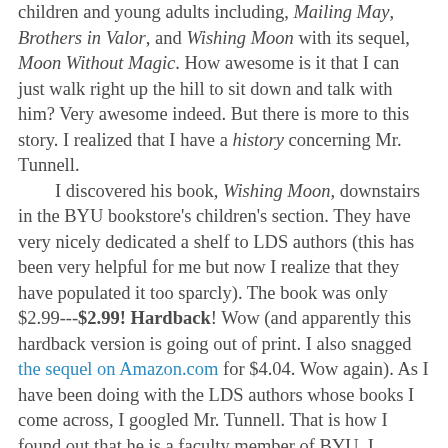children and young adults including, Mailing May, Brothers in Valor, and Wishing Moon with its sequel, Moon Without Magic. How awesome is it that I can just walk right up the hill to sit down and talk with him? Very awesome indeed. But there is more to this story. I realized that I have a history concerning Mr. Tunnell.

I discovered his book, Wishing Moon, downstairs in the BYU bookstore's children's section. They have very nicely dedicated a shelf to LDS authors (this has been very helpful for me but now I realize that they have populated it too sparcly). The book was only $2.99---$2.99! Hardback! Wow (and apparently this hardback version is going out of print. I also snagged the sequel on Amazon.com for $4.04. Wow again). As I have been doing with the LDS authors whose books I come across, I googled Mr. Tunnell. That is how I found out that he is a faculty member of BYU. I assumed that he was in the English department so I virtually searched for him there. I did not find him. I found him in the David O. McKay School of Education. "Oh. My. Gosh." I thought, "I used to clean that building every morning between 5 AM and 8 AM. I know which office is his. I mean, I know which one I think is his. It's got to be the one that I was very slow about